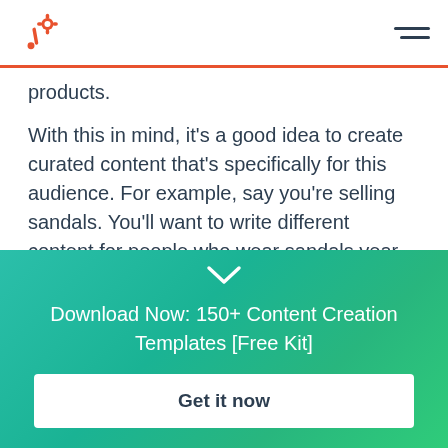HubSpot logo and navigation
products.
With this in mind, it's a good idea to create curated content that's specifically for this audience. For example, say you're selling sandals. You'll want to write different content for people who wear sandals year-round and people who only wear sandals at certain times of the year.
Download Now: 150+ Content Creation Templates [Free Kit]
Get it now